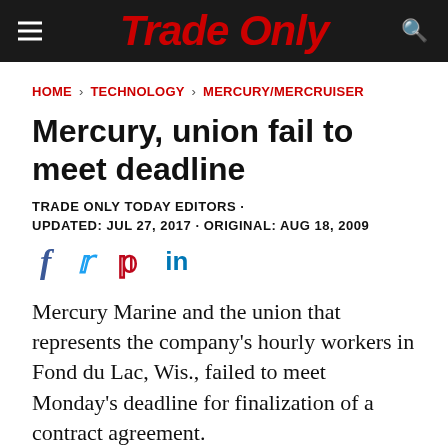Trade Only
HOME > TECHNOLOGY > MERCURY/MERCRUISER
Mercury, union fail to meet deadline
TRADE ONLY TODAY EDITORS ·
UPDATED: JUL 27, 2017 · ORIGINAL: AUG 18, 2009
[Figure (other): Social sharing icons: Facebook, Twitter, Pinterest, LinkedIn]
Mercury Marine and the union that represents the company's hourly workers in Fond du Lac, Wis., failed to meet Monday's deadline for finalization of a contract agreement.